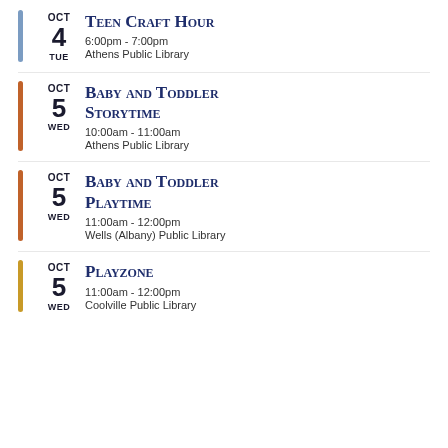OCT 4 TUE | Teen Craft Hour | 6:00pm - 7:00pm | Athens Public Library
OCT 5 WED | Baby and Toddler Storytime | 10:00am - 11:00am | Athens Public Library
OCT 5 WED | Baby and Toddler Playtime | 11:00am - 12:00pm | Wells (Albany) Public Library
OCT 5 WED | Playzone | 11:00am - 12:00pm | Coolville Public Library